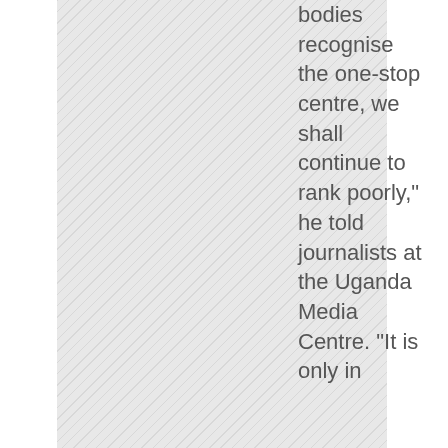[Figure (photo): Hatched/diagonal pattern image placeholder occupying the left portion of the page]
bodies recognise the one-stop centre, we shall continue to rank poorly," he told journalists at the Uganda Media Centre. "It is only in